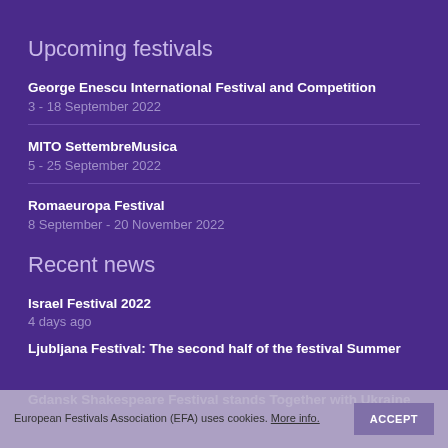Upcoming festivals
George Enescu International Festival and Competition
3 - 18 September 2022
MITO SettembreMusica
5 - 25 September 2022
Romaeuropa Festival
8 September - 20 November 2022
Recent news
Israel Festival 2022
4 days ago
Ljubljana Festival: The second half of the festival Summer
Gdansk Shakespeare Festival stands Together with Ukraine
European Festivals Association (EFA) uses cookies. More info.